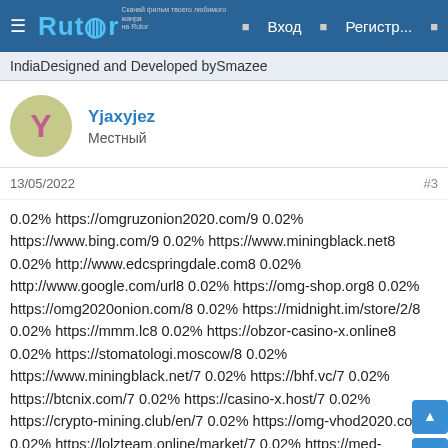Rutor — Вход — Регистр...
IndiaDesigned and Developed bySmazee
Yjaxyjez
Местный
13/05/2022
#3
0.02% https://omgruzonion2020.com/9 0.02% https://www.bing.com/9 0.02% https://www.miningblack.net8 0.02% http://www.edcspringdale.com8 0.02% http://www.google.com/url8 0.02% https://omg-shop.org8 0.02% https://omg2020onion.com/8 0.02% https://midnight.im/store/2/8 0.02% https://mmm.lc8 0.02% https://obzor-casino-x.online8 0.02% https://stomatologi.moscow/8 0.02% https://www.miningblack.net/7 0.02% https://bhf.vc/7 0.02% https://btcnix.com/7 0.02% https://casino-x.host/7 0.02% https://crypto-mining.club/en/7 0.02% https://omg-vhod2020.com/7 0.02% https://lolzteam.online/market/7 0.02% https://med-recent.ru/saharnyi-diabet-simptomy-prichiny-tipy-i...